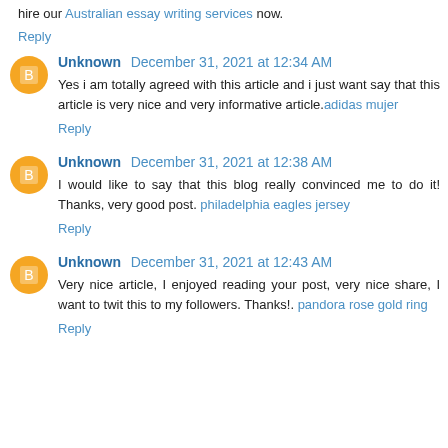hire our Australian essay writing services now.
Reply
Unknown December 31, 2021 at 12:34 AM
Yes i am totally agreed with this article and i just want say that this article is very nice and very informative article. adidas mujer
Reply
Unknown December 31, 2021 at 12:38 AM
I would like to say that this blog really convinced me to do it! Thanks, very good post. philadelphia eagles jersey
Reply
Unknown December 31, 2021 at 12:43 AM
Very nice article, I enjoyed reading your post, very nice share, I want to twit this to my followers. Thanks!. pandora rose gold ring
Reply